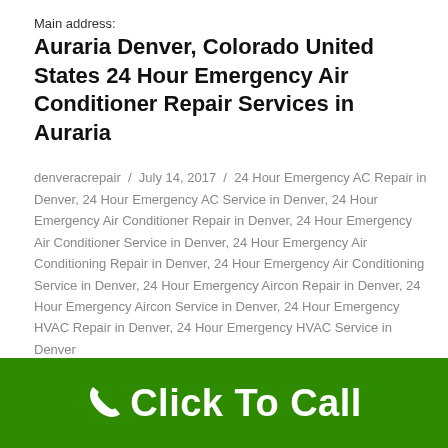Main address:
Auraria Denver, Colorado United States 24 Hour Emergency Air Conditioner Repair Services in Auraria
denveracrepair / July 14, 2017 / 24 Hour Emergency AC Repair in Denver, 24 Hour Emergency AC Service in Denver, 24 Hour Emergency Air Conditioner Repair in Denver, 24 Hour Emergency Air Conditioner Service in Denver, 24 Hour Emergency Air Conditioning Repair in Denver, 24 Hour Emergency Air Conditioning Service in Denver, 24 Hour Emergency Aircon Repair in Denver, 24 Hour Emergency Aircon Service in Denver, 24 Hour Emergency HVAC Repair in Denver, 24 Hour Emergency HVAC Service in Denver
Click To Call